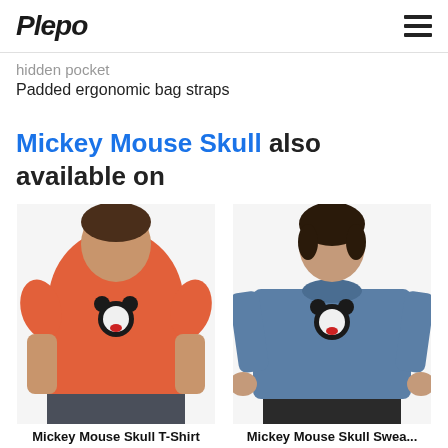Plepo
hidden pocket
Padded ergonomic bag straps
Mickey Mouse Skull also available on
[Figure (photo): Person wearing an orange Mickey Mouse Skull T-Shirt]
[Figure (photo): Person wearing a blue Mickey Mouse Skull Sweatshirt]
Mickey Mouse Skull T-Shirt
Mickey Mouse Skull Swea...